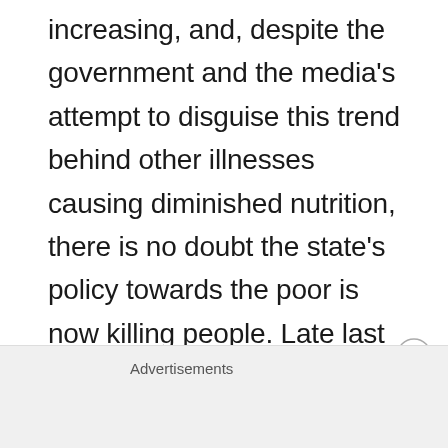increasing, and, despite the government and the media's attempt to disguise this trend behind other illnesses causing diminished nutrition, there is no doubt the state's policy towards the poor is now killing people. Late last year a report published by the British Medical Journal established a clear relationship between British government policy – namely cuts to social funding – and 120,000 unnecessary deaths in England and Wales since 2010. It is therefore by no means hyperbole to accuse the British state of
Advertisements